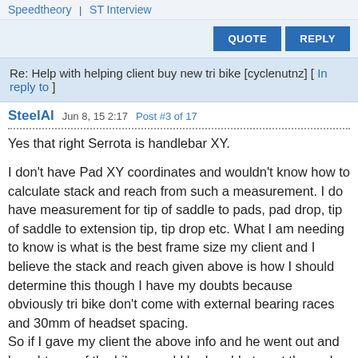Speedtheory | ST Interview
QUOTE   REPLY
Re: Help with helping client buy new tri bike [cyclenutnz] [ In reply to ]
SteelAl   Jun 8, 15 2:17   Post #3 of 17
Yes that right Serrota is handlebar XY.

I don't have Pad XY coordinates and wouldn't know how to calculate stack and reach from such a measurement. I do have measurement for tip of saddle to pads, pad drop, tip of saddle to extension tip, tip drop etc. What I am needing to know is what is the best frame size my client and I believe the stack and reach given above is how I should determine this though I have my doubts because obviously tri bike don't come with external bearing races and 30mm of headset spacing.
So if I gave my client the above info and he went out and bought one of the bikes would he be able to get the pads in the right height (most important consideration for him) or will